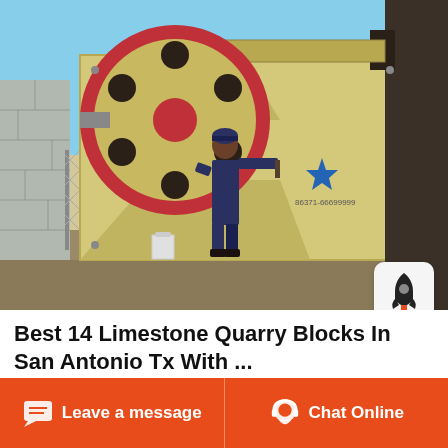[Figure (photo): Large industrial jaw crusher machine in yellow/beige color with a large flywheel at top-left. A worker in dark blue coveralls stands in front of the machine for scale. Blue sky background with concrete block wall on the left side. Machine has a blue star logo with phone number.]
Best 14 Limestone Quarry Blocks In San Antonio Tx With ...
Limestone Blocks and Hardscaping Finished Goods. Modern technologies and processes yield some of the finest construction limestone
Leave a message  Chat Online